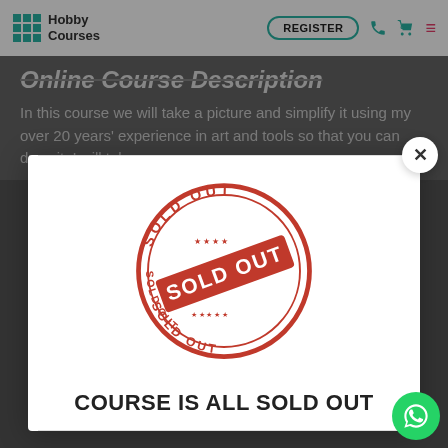Hobby Courses — REGISTER
Online Course Description
In this course we will take a picture and simplify it using my over 20 years' experience in art and tools so that you can draw it. I will take you
[Figure (illustration): Red rubber stamp graphic showing 'SOLD OUT' text in circular and banner format, repeated multiple times around a circle]
COURSE IS ALL SOLD OUT